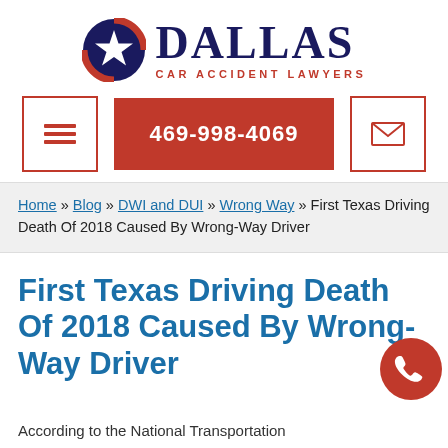[Figure (logo): Dallas Car Accident Lawyers logo with Texas star circle icon and bold DALLAS text]
[Figure (infographic): Navigation bar with hamburger menu icon, red phone number button (469-998-4069), and envelope email icon]
Home » Blog » DWI and DUI » Wrong Way » First Texas Driving Death Of 2018 Caused By Wrong-Way Driver
First Texas Driving Death Of 2018 Caused By Wrong-Way Driver
According to the National Transportation